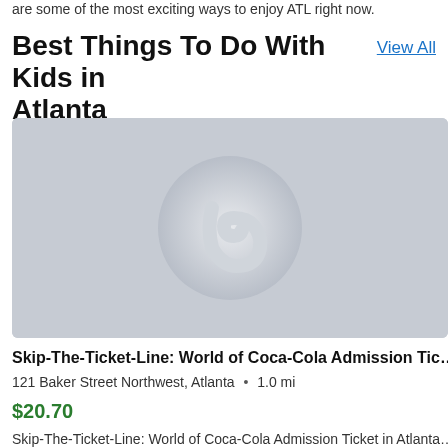are some of the most exciting ways to enjoy ATL right now.
Best Things To Do With Kids in Atlanta
View All
[Figure (photo): A loading placeholder image with a grey background and a circular Groupon-style logo in the center, likely for Skip-The-Ticket-Line: World of Coca-Cola Admission Ticket.]
Skip-The-Ticket-Line: World of Coca-Cola Admission Tic…
121 Baker Street Northwest, Atlanta  •  1.0 mi
$20.70
Skip-The-Ticket-Line: World of Coca-Cola Admission Ticket in Atlanta